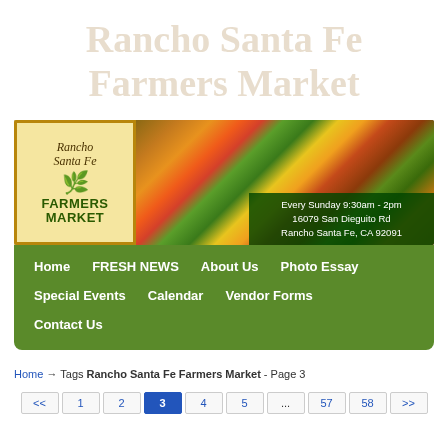Rancho Santa Fe
Farmers Market
[Figure (screenshot): Rancho Santa Fe Farmers Market banner with logo and produce photo. Logo shows 'Rancho Santa Fe FARMERS MARKET' text with green tree illustration on yellow background. Right side shows colorful fruits and vegetables. Overlay text: 'Every Sunday 9:30am - 2pm, 16079 San Dieguito Rd, Rancho Santa Fe, CA 92091']
Home   FRESH NEWS   About Us   Photo Essay
Special Events   Calendar   Vendor Forms
Contact Us
Home → Tags Rancho Santa Fe Farmers Market - Page 3
<< 1 2 3 4 5 ... 57 58 >>